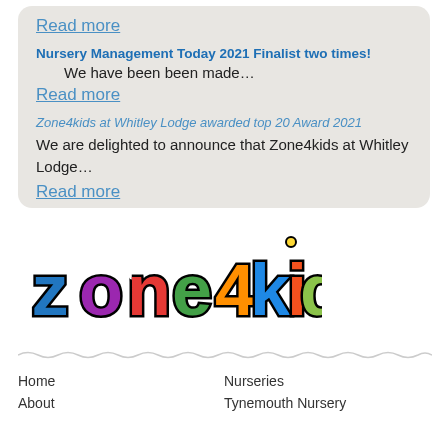Read more
Nursery Management Today 2021 Finalist two times!
We have been been made…
Read more
Zone4kids at Whitley Lodge awarded top 20 Award 2021
We are delighted to announce that Zone4kids at Whitley Lodge…
Read more
[Figure (logo): Zone4kids colourful logo with bubble letters in multiple colours on white background]
Home    Nurseries
About    Tynemouth Nursery